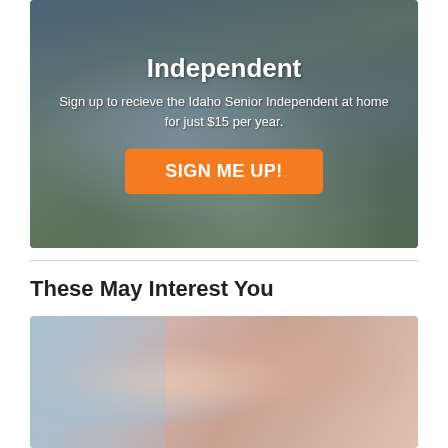[Figure (photo): Elderly man sitting on a bench outdoors reading a newspaper/magazine, with trees in background. Dark overlay with promotional text and orange button.]
Independent
Sign up to recieve the Idaho Senior Independent at home for just $15 per year.
SIGN ME UP!
These May Interest You
[Figure (photo): Close-up photo of an elderly man's face, with a glass display case visible on the left side of the image.]